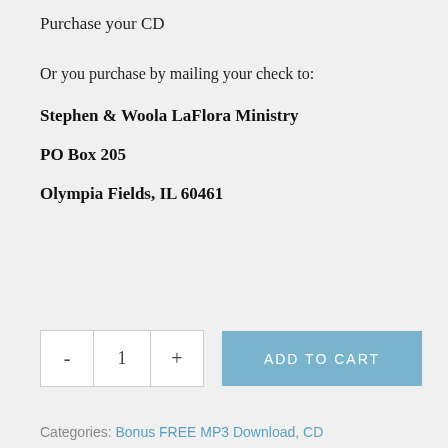Purchase your CD
Or you purchase by mailing your check to:
Stephen & Woola LaFlora Ministry
PO Box 205
Olympia Fields, IL 60461
- 1 + ADD TO CART
Categories: Bonus FREE MP3 Download, CD